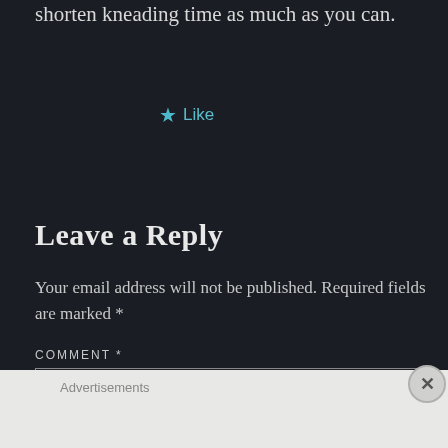shorten kneading time as much as you can.
★ Like
Leave a Reply
Your email address will not be published. Required fields are marked *
COMMENT *
[Figure (other): Comment text input box (form field)]
Advertisements